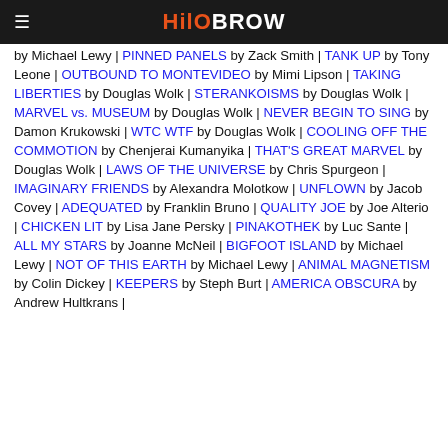HiloBrow
by Michael Lewy | PINNED PANELS by Zack Smith | TANK UP by Tony Leone | OUTBOUND TO MONTEVIDEO by Mimi Lipson | TAKING LIBERTIES by Douglas Wolk | STERANKOISMS by Douglas Wolk | MARVEL vs. MUSEUM by Douglas Wolk | NEVER BEGIN TO SING by Damon Krukowski | WTC WTF by Douglas Wolk | COOLING OFF THE COMMOTION by Chenjerai Kumanyika | THAT'S GREAT MARVEL by Douglas Wolk | LAWS OF THE UNIVERSE by Chris Spurgeon | IMAGINARY FRIENDS by Alexandra Molotkow | UNFLOWN by Jacob Covey | ADEQUATED by Franklin Bruno | QUALITY JOE by Joe Alterio | CHICKEN LIT by Lisa Jane Persky | PINAKOTHEK by Luc Sante | ALL MY STARS by Joanne McNeil | BIGFOOT ISLAND by Michael Lewy | NOT OF THIS EARTH by Michael Lewy | ANIMAL MAGNETISM by Colin Dickey | KEEPERS by Steph Burt | AMERICA OBSCURA by Andrew Hultkrans |